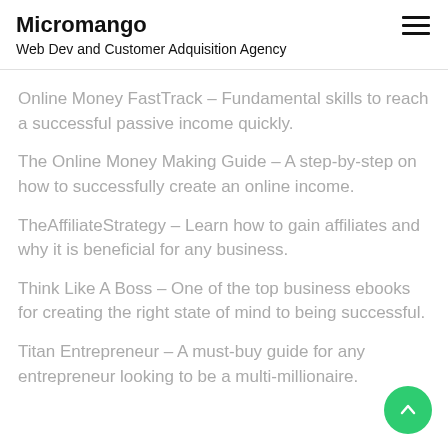Micromango
Web Dev and Customer Adquisition Agency
Online Money FastTrack – Fundamental skills to reach a successful passive income quickly.
The Online Money Making Guide – A step-by-step on how to successfully create an online income.
TheAffiliateStrategy – Learn how to gain affiliates and why it is beneficial for any business.
Think Like A Boss – One of the top business ebooks for creating the right state of mind to being successful.
Titan Entrepreneur – A must-buy guide for any entrepreneur looking to be a multi-millionaire.